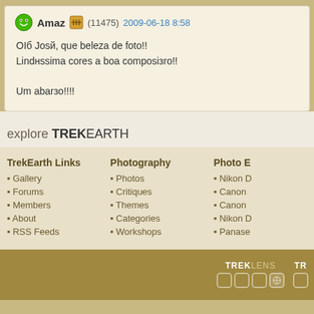Amaz (11475) 2009-06-18 8:58
OIб Josй, que beleza de foto!!
Lindнssima cores a boa composiзro!!

Um abarзo!!!!
explore TREKEARTH
TrekEarth Links
Gallery
Forums
Members
About
RSS Feeds
Photography
Photos
Critiques
Themes
Categories
Workshops
Photo E
Nikon D
Canon
Canon
Nikon D
Panase
[Figure (logo): TREKLENS logo with icon boxes and partial TR logo]